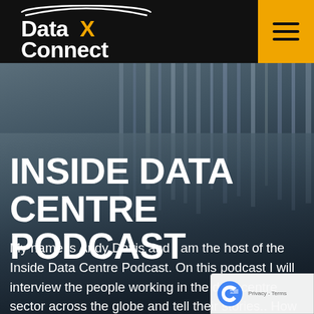Data X Connect — navigation header with hamburger menu
[Figure (photo): Data centre server racks in the background, dimly lit with metallic vertical structures visible]
INSIDE DATA CENTRE PODCAST
My name is Andy Davis and I am the host of the Inside Data Centre Podcast. On this podcast I will interview the people working in the data centre sector across the globe and tell their stories.. How did they first enter the sector? How have they developed their career? What are the challenges faced by the industry as it rapidly expands? What advice can they give others looking to